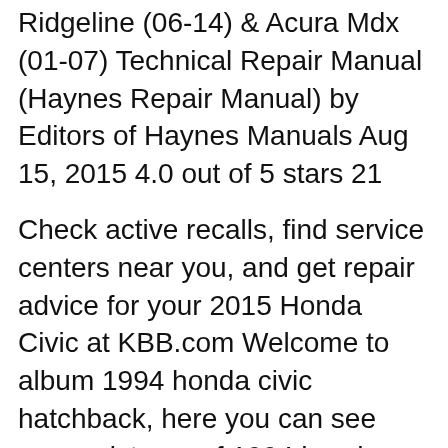Ridgeline (06-14) & Acura Mdx (01-07) Technical Repair Manual (Haynes Repair Manual) by Editors of Haynes Manuals Aug 15, 2015 4.0 out of 5 stars 21
Check active recalls, find service centers near you, and get repair advice for your 2015 Honda Civic at KBB.com Welcome to album 1994 honda civic hatchback, here you can see many pictures of 1994 honda civic hatchback, and you can also open via phone and your computer, to more easily view 1994 honda civic hatchback. 1994 Honda Civic Hatchback image to 2015 Honda Civic Spotted Testing With a Large Rear-Spoiler, Major Facelift in Tow: Engine Receives